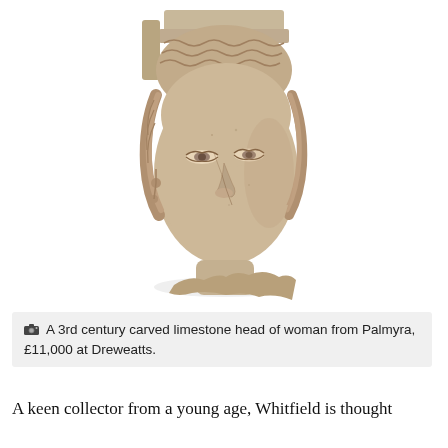[Figure (photo): A 3rd century carved limestone head of a woman from Palmyra, shown against a white background. The sculpture depicts a face with classical features, wavy hair, a headdress, and visible earrings. There are cracks and weathering on the stone surface.]
A 3rd century carved limestone head of woman from Palmyra, £11,000 at Dreweatts.
A keen collector from a young age, Whitfield is thought